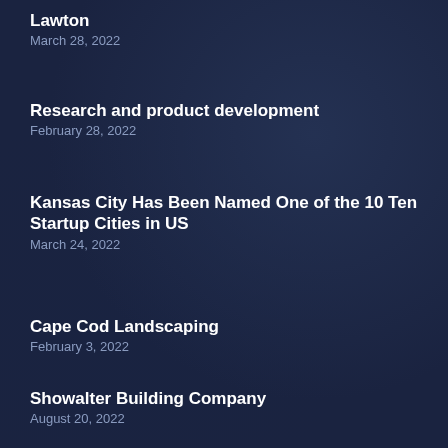Lawton
March 28, 2022
Research and product development
February 28, 2022
Kansas City Has Been Named One of the 10 Ten Startup Cities in US
March 24, 2022
Cape Cod Landscaping
February 3, 2022
Showalter Building Company
August 20, 2022